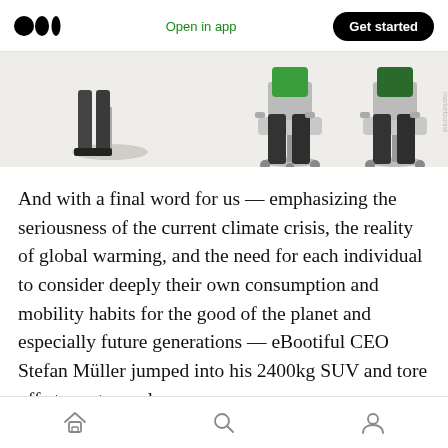Medium app bar — Open in app | Get started
[Figure (illustration): Cropped illustration showing office chairs and legs of seated figures, partial view of a meeting or office scene with green-shirted person visible.]
And with a final word for us — emphasizing the seriousness of the current climate crisis, the reality of global warming, and the need for each individual to consider deeply their own consumption and mobility habits for the good of the planet and especially future generations — eBootiful CEO Stefan Müller jumped into his 2400kg SUV and tore off at great speed.
Bottom navigation bar with home, search, and profile icons